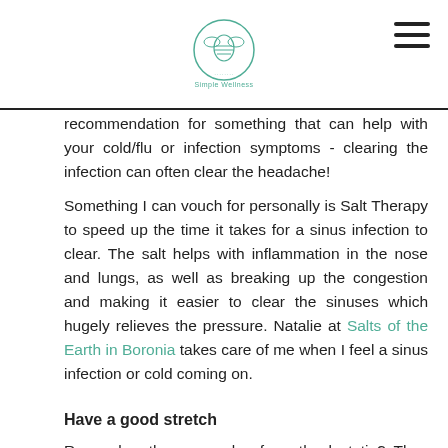Simple Wellness logo and navigation
recommendation for something that can help with your cold/flu or infection symptoms - clearing the infection can often clear the headache!
Something I can vouch for personally is Salt Therapy to speed up the time it takes for a sinus infection to clear. The salt helps with inflammation in the nose and lungs, as well as breaking up the congestion and making it easier to clear the sinuses which hugely relieves the pressure. Natalie at Salts of the Earth in Boronia takes care of me when I feel a sinus infection or cold coming on.
Have a good stretch
Remember those muscles from the last tip? They are the ones we want to stretch out gently.
Roll your neck up and down, then side to side, breathing into any tight or sore spots. My little bonus